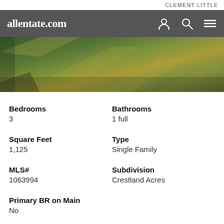CLEMENT LITTLE
allentate.com
[Figure (photo): Aerial or landscape photo of a green mossy/grassy terrain with diagonal shadow lines and earth tones]
Bedrooms
3
Bathrooms
1 full
Square Feet
1,125
Type
Single Family
MLS#
1063994
Subdivision
Crestland Acres
Primary BR on Main
No